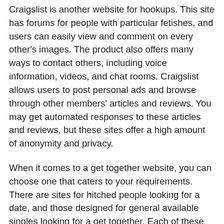Craigslist is another website for hookups. This site has forums for people with particular fetishes, and users can easily view and comment on every other's images. The product also offers many ways to contact others, including voice information, videos, and chat rooms. Craigslist allows users to post personal ads and browse through other members' articles and reviews. You may get automated responses to these articles and reviews, but these sites offer a high amount of anonymity and privacy.
When it comes to a get together website, you can choose one that caters to your requirements. There are sites for hitched people looking for a date, and those designed for general available singles looking for a get together. Each of these websites lets you customise your profile to meet the person you're looking for. As opposed to mainstream internet dating sites, these sites as well allow customers to set up personal profiles so that they can find an ideal match.